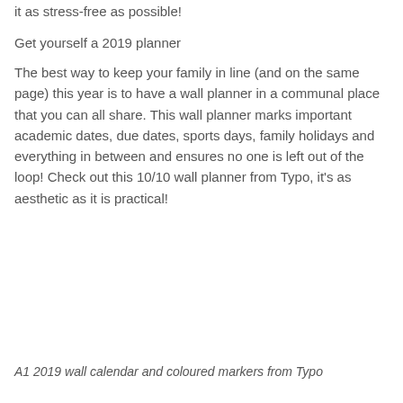it as stress-free as possible!
Get yourself a 2019 planner
The best way to keep your family in line (and on the same page) this year is to have a wall planner in a communal place that you can all share. This wall planner marks important academic dates, due dates, sports days, family holidays and everything in between and ensures no one is left out of the loop! Check out this 10/10 wall planner from Typo, it's as aesthetic as it is practical!
A1 2019 wall calendar and coloured markers from Typo